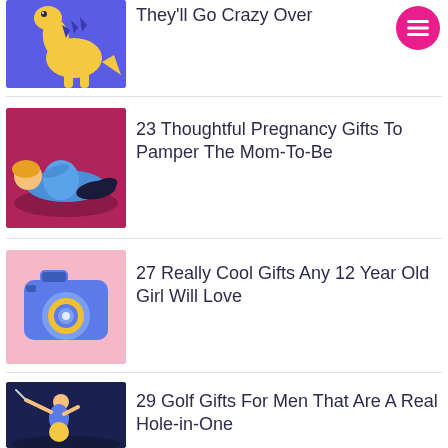[Figure (illustration): Pink circular menu button with three horizontal white lines (hamburger icon)]
[Figure (illustration): Yellow dinosaur illustration on purple/blue background]
They'll Go Crazy Over
[Figure (illustration): Illustration of a pregnant woman lying down on dark red/maroon background]
23 Thoughtful Pregnancy Gifts To Pamper The Mom-To-Be
[Figure (illustration): Blue camera illustration on pink background]
27 Really Cool Gifts Any 12 Year Old Girl Will Love
[Figure (illustration): Golfer swinging a club illustration on dark navy background]
29 Golf Gifts For Men That Are A Real Hole-in-One